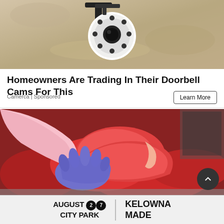[Figure (photo): Security camera mounted on a textured beige wall, close-up shot with black mounting bracket and circular LED ring visible]
Homeowners Are Trading In Their Doorbell Cams For This
Camerca | Sponsored
Learn More
[Figure (photo): Butcher wearing pink long-sleeve shirt and blue gloves handling a large cut of raw red meat at a butcher counter]
AUGUST 27 CITY PARK   KELOWNA MADE